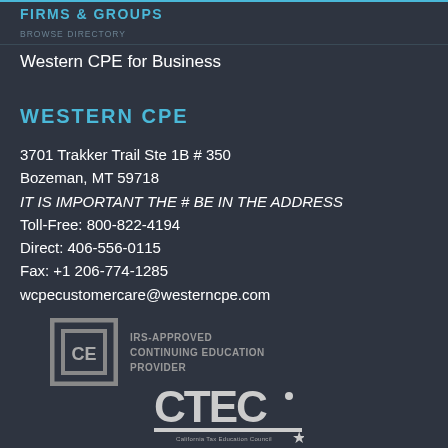FIRMS & GROUPS
Western CPE for Business
WESTERN CPE
3701 Trakker Trail Ste 1B # 350
Bozeman, MT 59718
IT IS IMPORTANT THE # BE IN THE ADDRESS
Toll-Free: 800-822-4194
Direct: 406-556-0115
Fax: +1 206-774-1285
wcpecustomercare@westerncpe.com
[Figure (logo): IRS-Approved Continuing Education Provider CE badge logo]
[Figure (logo): CTEC California Tax Education Council logo]